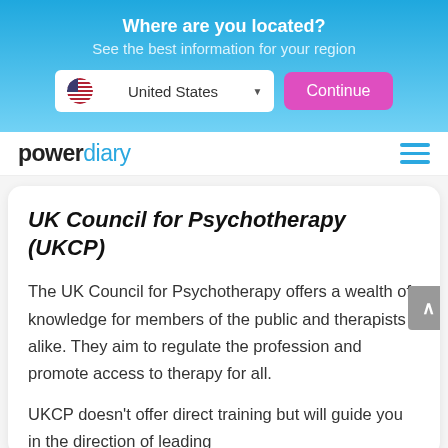Where are you located?
See the best information for your region
[Figure (screenshot): Dropdown showing United States with flag icon and Continue button]
[Figure (logo): Power Diary logo with hamburger menu icon]
UK Council for Psychotherapy (UKCP)
The UK Council for Psychotherapy offers a wealth of knowledge for members of the public and therapists alike. They aim to regulate the profession and promote access to therapy for all.
UKCP doesn't offer direct training but will guide you in the direction of leading